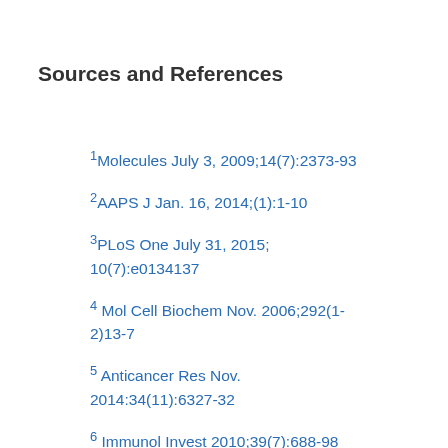Sources and References
1Molecules July 3, 2009;14(7):2373-93
2AAPS J Jan. 16, 2014;(1):1-10
3PLoS One July 31, 2015; 10(7):e0134137
4 Mol Cell Biochem Nov. 2006;292(1-2)13-7
5 Anticancer Res Nov. 2014:34(11):6327-32
6 Immunol Invest 2010;39(7):688-98
7 J Neurooncol Jan. 2016;126(2):253-64
8 PLoS One Sept. 29, 2014; 9(9):e107596
9 Phytochemistry Aug 2015;116:283-9